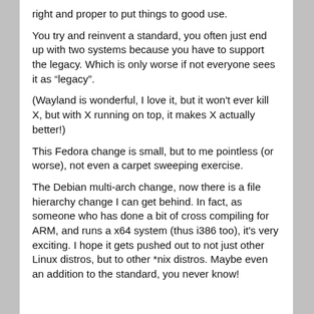right and proper to put things to good use.
You try and reinvent a standard, you often just end up with two systems because you have to support the legacy. Which is only worse if not everyone sees it as “legacy”.
(Wayland is wonderful, I love it, but it won't ever kill X, but with X running on top, it makes X actually better!)
This Fedora change is small, but to me pointless (or worse), not even a carpet sweeping exercise.
The Debian multi-arch change, now there is a file hierarchy change I can get behind. In fact, as someone who has done a bit of cross compiling for ARM, and runs a x64 system (thus i386 too), it's very exciting. I hope it gets pushed out to not just other Linux distros, but to other *nix distros. Maybe even an addition to the standard, you never know!